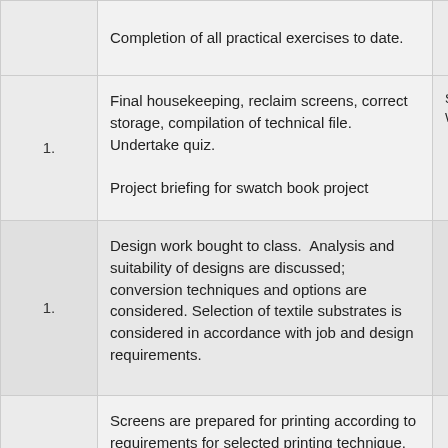| # | Description | Notes |
| --- | --- | --- |
|  | Completion of all practical exercises to date. |  |
| 1. | Final housekeeping, reclaim screens, correct storage, compilation of technical file. Undertake quiz.

Project briefing for swatch book project | Scr
Wo |
| 1. | Design work bought to class.  Analysis and suitability of designs are discussed; conversion techniques and options are considered. Selection of textile substrates is considered in accordance with job and design requirements. |  |
| 1. | Screens are prepared for printing according to requirements for selected printing technique. Opaque media selected. Prepare stencils and screens for photographic exposure |  |
| 1. | Inductions to digital print technologies – sublimation |  |